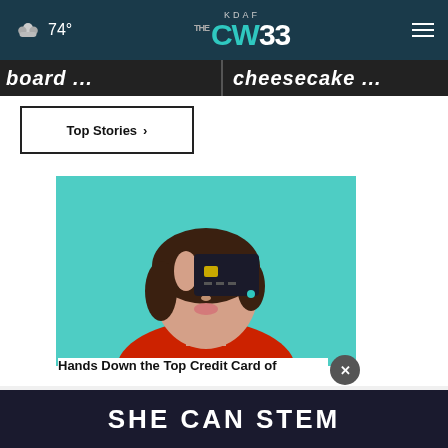74° KDAF CW33
board ...
cheesecake ...
Top Stories ›
[Figure (photo): Woman holding a credit card up to her eye, wearing a red sweater, against a teal background]
Hands Down the Top Credit Card of
SHE CAN STEM